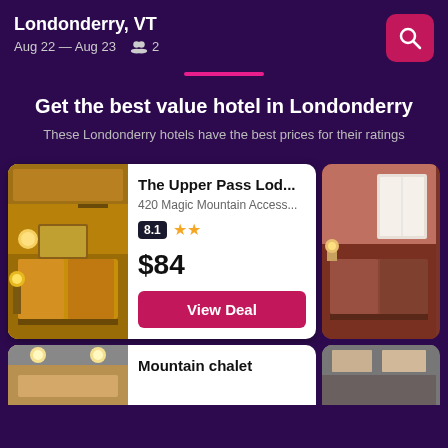Londonderry, VT  Aug 22 — Aug 23  2
Get the best value hotel in Londonderry
These Londonderry hotels have the best prices for their ratings
[Figure (photo): Hotel room photo showing beds with orange/yellow bedding and warm lighting]
The Upper Pass Lod...
420 Magic Mountain Access...
8.1  ★★
$84
[Figure (photo): Hotel room photo with brown/red walls and white window curtains]
[Figure (photo): Bottom-left hotel room photo with ceiling light]
Mountain chalet
[Figure (photo): Bottom-right hotel image]